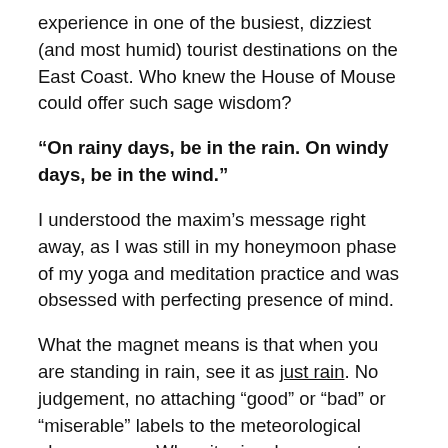experience in one of the busiest, dizziest (and most humid) tourist destinations on the East Coast. Who knew the House of Mouse could offer such sage wisdom?
“On rainy days, be in the rain. On windy days, be in the wind.”
I understood the maxim’s message right away, as I was still in my honeymoon phase of my yoga and meditation practice and was obsessed with perfecting presence of mind.
What the magnet means is that when you are standing in rain, see it as just rain. No judgement, no attaching “good” or “bad” or “miserable” labels to the meteorological phenomenon. When it rains, be present; see it at its most basic state: water falling from the sky. And then just experience it in all its wet glory.